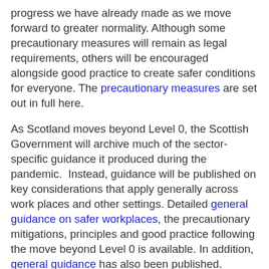progress we have already made as we move forward to greater normality. Although some precautionary measures will remain as legal requirements, others will be encouraged alongside good practice to create safer conditions for everyone. The precautionary measures are set out in full here.
As Scotland moves beyond Level 0, the Scottish Government will archive much of the sector-specific guidance it produced during the pandemic.  Instead, guidance will be published on key considerations that apply generally across work places and other settings. Detailed general guidance on safer workplaces, the precautionary mitigations, principles and good practice following the move beyond Level 0 is available. In addition, general guidance has also been published.
A comprehensive list of all Scottish Government